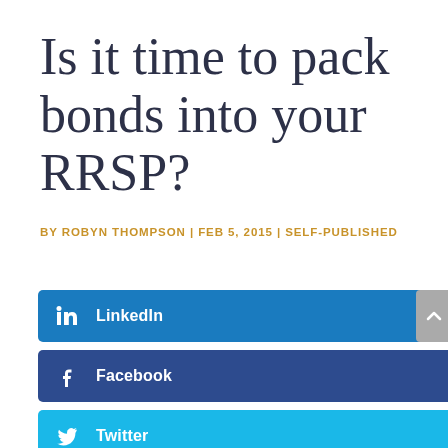Is it time to pack bonds into your RRSP?
BY ROBYN THOMPSON | FEB 5, 2015 | SELF-PUBLISHED
[Figure (screenshot): Social share buttons: LinkedIn (blue), Facebook (dark blue), Twitter (light blue), and a more (...) button in grey. A grey scroll-to-top button with an upward chevron is on the right.]